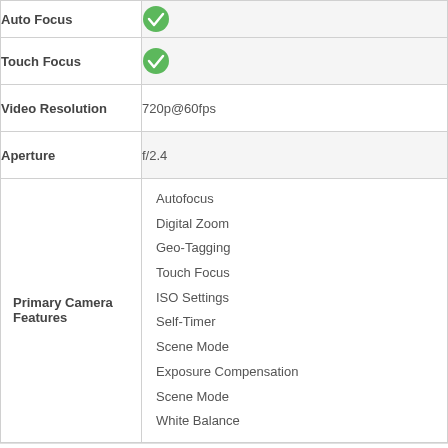| Feature | Value |
| --- | --- |
| Auto Focus | ✓ |
| Touch Focus | ✓ |
| Video Resolution | 720p@60fps |
| Aperture | f/2.4 |
| Primary Camera Features | Autofocus
Digital Zoom
Geo-Tagging
Touch Focus
ISO Settings
Self-Timer
Scene Mode
Exposure Compensation
Scene Mode
White Balance |
This website uses cookies to improve your experience. We'll assume you're ok with this, but you can opt-out if you wish.
Accept   Read More